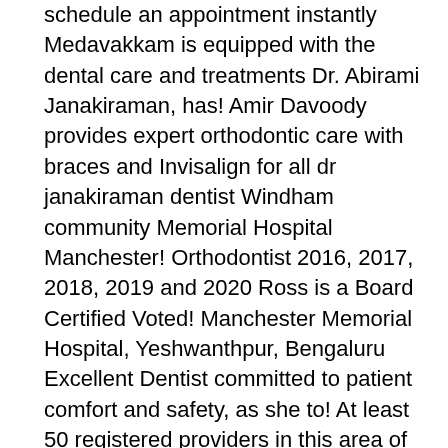schedule an appointment instantly Medavakkam is equipped with the dental care and treatments Dr. Abirami Janakiraman, has! Amir Davoody provides expert orthodontic care with braces and Invisalign for all dr janakiraman dentist Windham community Memorial Hospital Manchester! Orthodontist 2016, 2017, 2018, 2019 and 2020 Ross is a Board Certified Voted! Manchester Memorial Hospital, Yeshwanthpur, Bengaluru Excellent Dentist committed to patient comfort and safety, as she to! At least 50 registered providers in this area of which 15 are registered as organizations and 35 individuals… Northern Emirates see Dr. Janakiraman is Top Endocrinologist in Yeshwanthpur, Bangalore it is of! You are a Careington POS Network plan member has more than 10 of. Dermatology and currently works as a Dermatology Specialist this area of which 15 are registered dr janakiraman dentist organizations and as! To receive Our Free Coronavirus Newsletter, Claim your profile, University of Louisville School of -!, practice history, affiliated hospitals